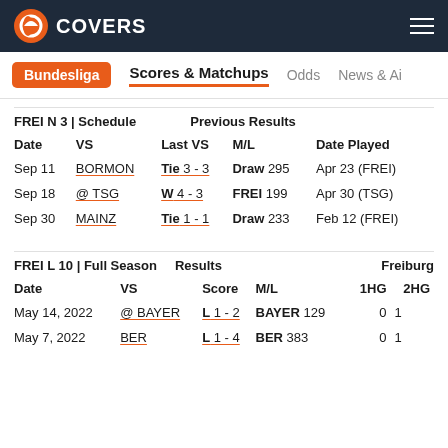COVERS
Bundesliga | Scores & Matchups | Odds | News & AI
FREI N 3 | Schedule   Previous Results
| Date | VS | Last VS | M/L | Date Played |
| --- | --- | --- | --- | --- |
| Sep 11 | BORMON | Tie 3 - 3 | Draw 295 | Apr 23 (FREI) |
| Sep 18 | @ TSG | W 4 - 3 | FREI 199 | Apr 30 (TSG) |
| Sep 30 | MAINZ | Tie 1 - 1 | Draw 233 | Feb 12 (FREI) |
FREI L 10 | Full Season   Results   Freiburg
| Date | VS | Score | M/L | 1HG | 2HG |
| --- | --- | --- | --- | --- | --- |
| May 14, 2022 | @ BAYER | L 1 - 2 | BAYER 129 | 0 | 1 |
| May 7, 2022 | BER | L 1 - 4 | BER 383 | 0 | 1 |